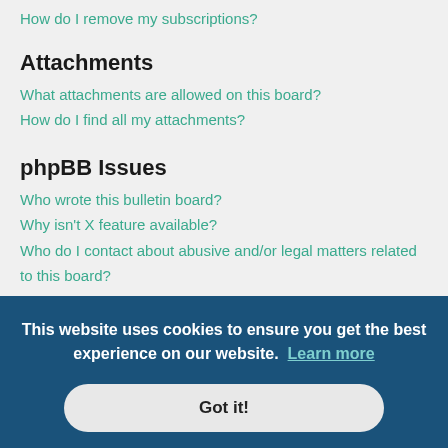How do I remove my subscriptions?
Attachments
What attachments are allowed on this board?
How do I find all my attachments?
phpBB Issues
Who wrote this bulletin board?
Why isn't X feature available?
Who do I contact about abusive and/or legal matters related to this board?
How do I contact a board administrator?
Login and Registration Issues
to ; le to emailing omments to register so it is recommended you do so.
This website uses cookies to ensure you get the best experience on our website.  Learn more
Got it!